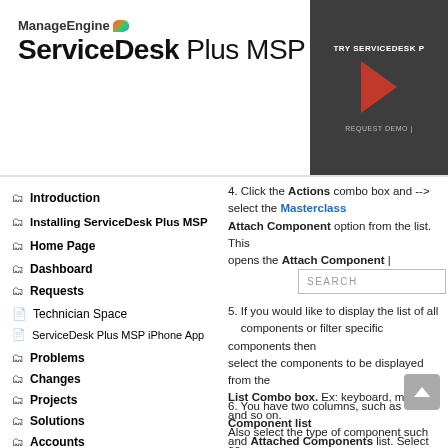TRY SERVICEDESK P...
ManageEngine ServiceDesk Plus MSP
Introduction
Installing ServiceDesk Plus MSP
Home Page
Dashboard
Requests
Technician Space
ServiceDesk Plus MSP iPhone App
Problems
Changes
Projects
Solutions
Accounts
Billing...
4. Click the Actions combo box and --> select the Attach Component option from the list. This opens the Attach Component | Masterclass
5. If you would like to display the list of all components or filter specific components then select the components to be displayed from the List Combo box. Ex: keyboard, mouse and so on. Also select the type of component such as component in store, in use and so on from the of type combo box.
6. You have two columns, such as Component list and Attached Components list. Select the components to be attached from the